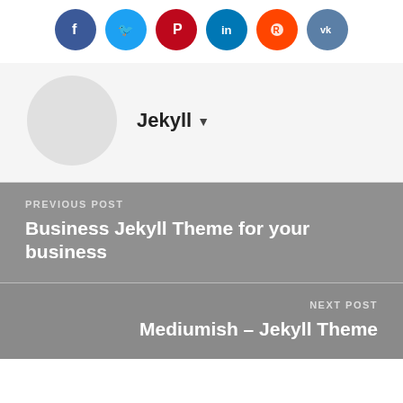[Figure (other): Social media sharing icons row: Facebook (blue), Twitter (light blue), Pinterest (dark red), LinkedIn (blue), Reddit (orange-red), VK (steel blue)]
[Figure (other): Author avatar circle (light gray placeholder) with name 'Jekyll' and dropdown arrow]
PREVIOUS POST
Business Jekyll Theme for your business
NEXT POST
Mediumish – Jekyll Theme